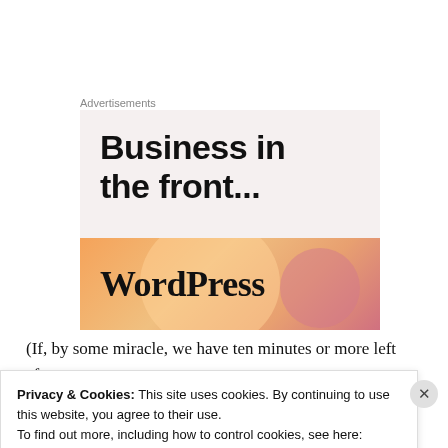Advertisements
[Figure (illustration): WordPress advertisement banner showing 'Business in the front...' headline text on a light pink/beige background, with an orange gradient banner below showing the WordPress logo text]
(If, by some miracle, we have ten minutes or more left after this second 20-minute pose, we'll squeeze in another pose
Privacy & Cookies: This site uses cookies. By continuing to use this website, you agree to their use.
To find out more, including how to control cookies, see here: Cookie Policy
Close and accept